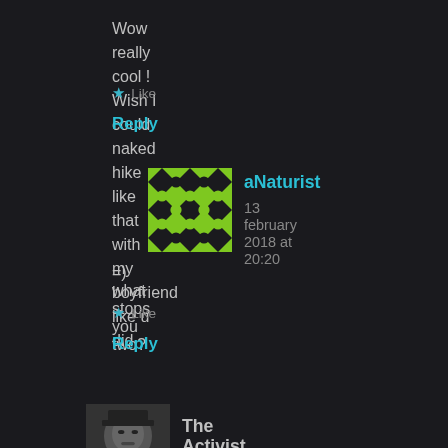Wow really cool ! Wish I could naked hike like that with my boyfriend like u did
Like
Reply
[Figure (illustration): Green geometric pattern avatar for aNaturist]
aNaturist
13 february 2018 at 20:20
=) what stops you two?
Like
Reply
[Figure (photo): Black and white photo avatar for The Activist]
The Activist